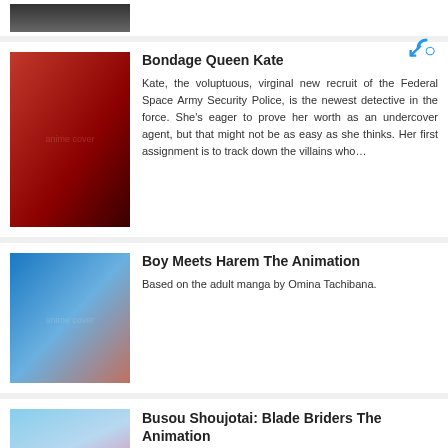[Figure (illustration): Partial top strip showing bottom of a previous anime cover image]
[Figure (illustration): Cover art for Bondage Queen Kate anime]
Bondage Queen Kate
Kate, the voluptuous, virginal new recruit of the Federal Space Army Security Police, is the newest detective in the force. She's eager to prove her worth as an undercover agent, but that might not be as easy as she thinks. Her first assignment is to track down the villains who…
[Figure (illustration): Cover art for Boy Meets Harem The Animation anime]
Boy Meets Harem The Animation
Based on the adult manga by Omina Tachibana.
[Figure (illustration): Cover art for Busou Shoujotai: Blade Briders The Animation anime (partial)]
Busou Shoujotai: Blade Briders The Animation